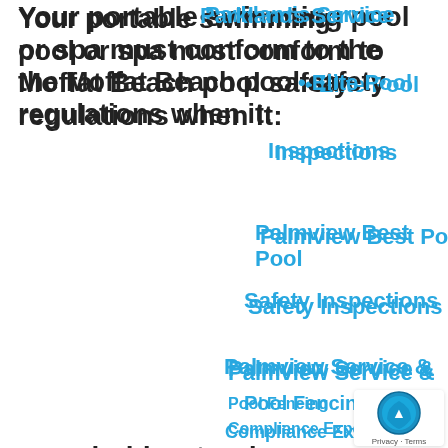Your portable swimming pool or spa must conform to the Moffat Beach pool safety regulations when it:
can hold water deeper than 300mm
has got a total capacity of greater than 2,000 L
has a filtering system